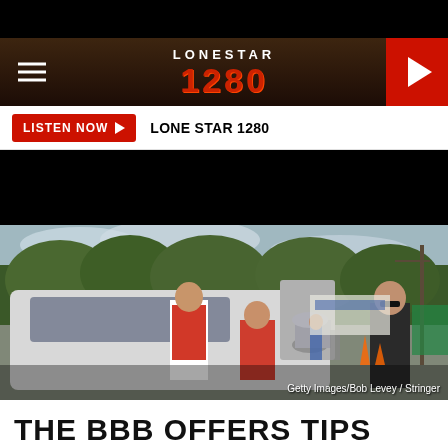Lone Star 1280 - Navigation header with logo and play button
LISTEN NOW ▶  LONE STAR 1280
[Figure (photo): People loading supplies into the back of a white SUV outdoors. A young man in a red vest and a woman in a red vest are handling gray cylindrical objects. A firefighter in dark uniform stands to the right. People and vehicles visible in background. Trees in background.]
Getty Images/Bob Levey / Stringer
THE BBB OFFERS TIPS WHEN